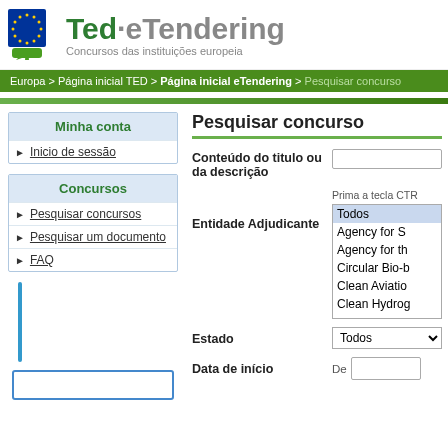[Figure (logo): EU flag logo with stars in circle on blue background, with green speech bubble below]
Ted · eTendering
Concursos das instituições europeia
Europa > Página inicial TED > Página inicial eTendering > Pesquisar concurso
Minha conta
Inicio de sessão
Concursos
Pesquisar concursos
Pesquisar um documento
FAQ
Pesquisar concurso
Conteúdo do titulo ou da descrição
Prima a tecla CTR
Entidade Adjudicante
Todos
Agency for S
Agency for th
Circular Bio-b
Clean Aviatio
Clean Hydrog
Estado
Todos
Data de início
De